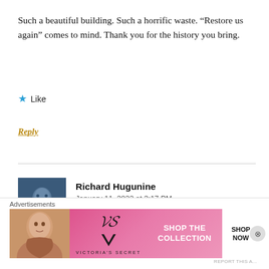Such a beautiful building. Such a horrific waste. “Restore us again” comes to mind. Thank you for the history you bring.
★ Like
Reply
Richard Hugunine
January 11, 2022 at 3:17 PM
That “organ” is very clearly a piano.
[Figure (photo): Profile avatar photo of Richard Hugunine, a person with a bluish/dark tinted photo]
Advertisements
[Figure (screenshot): Victoria's Secret advertisement banner with a woman's photo, VS logo, 'SHOP THE COLLECTION' text, and 'SHOP NOW' button]